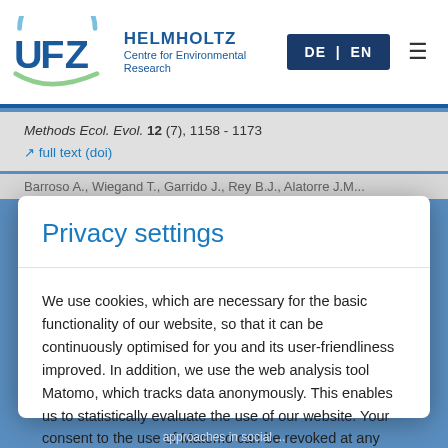[Figure (logo): UFZ Helmholtz Centre for Environmental Research logo with circular UFZ emblem and language/menu controls (DE | EN, hamburger menu)]
Methods Ecol. Evol. 12 (7), 1158 - 1173 full text (doi)
Barroso A., Wiegand T., Garrido J., Rey B.J., Alatorre J.M...
Privacy settings
We use cookies, which are necessary for the basic functionality of our website, so that it can be continuously optimised for you and its user-friendliness improved. In addition, we use the web analysis tool Matomo, which tracks data anonymously. This enables us to statistically evaluate the use of our website. Your consent to the use of Matomo can be revoked at any time via the privacy policy.
Refuse  Accept